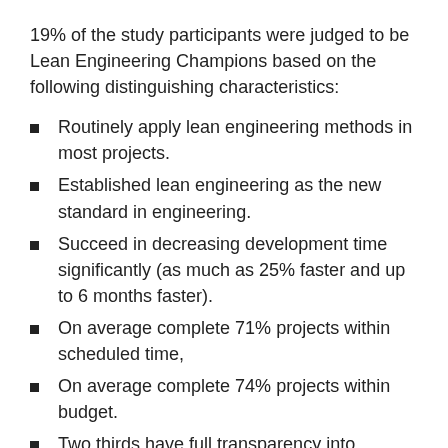19% of the study participants were judged to be Lean Engineering Champions based on the following distinguishing characteristics:
Routinely apply lean engineering methods in most projects.
Established lean engineering as the new standard in engineering.
Succeed in decreasing development time significantly (as much as 25% faster and up to 6 months faster).
On average complete 71% projects within scheduled time,
On average complete 74% projects within budget.
Two thirds have full transparency into capacity utilization and specify flexible mitigation actions to avoid project disruptions in the medium to long-term.
70% employ a cross-functional knowledge...